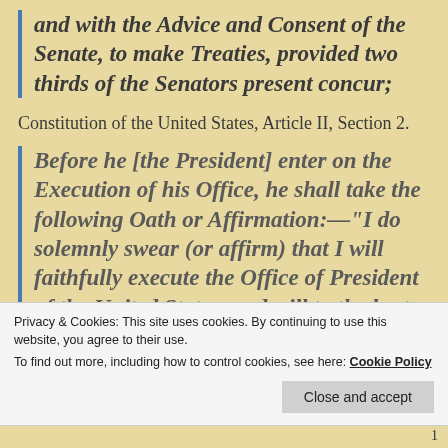and with the Advice and Consent of the Senate, to make Treaties, provided two thirds of the Senators present concur;
Constitution of the United States, Article II, Section 2.
Before he [the President] enter on the Execution of his Office, he shall take the following Oath or Affirmation:—“I do solemnly swear (or affirm) that I will faithfully execute the Office of President of the United States, and will to the best
Privacy & Cookies: This site uses cookies. By continuing to use this website, you agree to their use.
To find out more, including how to control cookies, see here: Cookie Policy
1